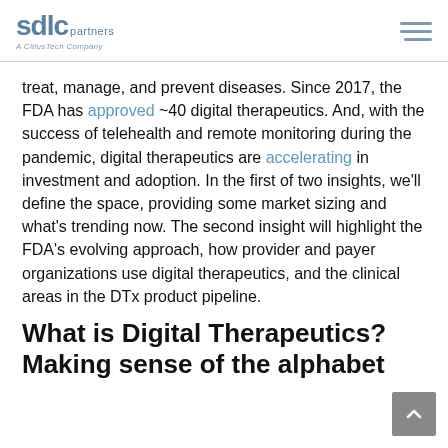[Figure (logo): SDlC partners logo – A CitiusTech Company, with hamburger menu icon]
treat, manage, and prevent diseases. Since 2017, the FDA has approved ~40 digital therapeutics. And, with the success of telehealth and remote monitoring during the pandemic, digital therapeutics are accelerating in investment and adoption. In the first of two insights, we'll define the space, providing some market sizing and what's trending now. The second insight will highlight the FDA's evolving approach, how provider and payer organizations use digital therapeutics, and the clinical areas in the DTx product pipeline.
What is Digital Therapeutics? Making sense of the alphabet